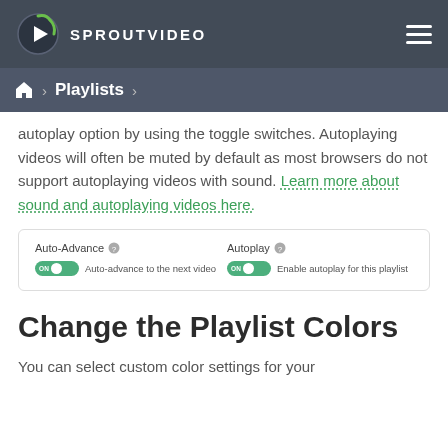SPROUTVIDEO
Home > Playlists >
autoplay option by using the toggle switches. Autoplaying videos will often be muted by default as most browsers do not support autoplaying videos with sound. Learn more about sound and autoplaying videos here.
[Figure (screenshot): UI card showing two toggle switches: Auto-Advance (ON - Auto-advance to the next video) and Autoplay (ON - Enable autoplay for this playlist)]
Change the Playlist Colors
You can select custom color settings for your